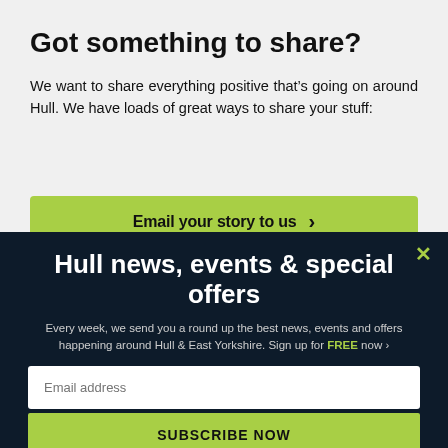Got something to share?
We want to share everything positive that’s going on around Hull. We have loads of great ways to share your stuff:
Email your story to us >
Hull news, events & special offers
Every week, we send you a round up the best news, events and offers happening around Hull & East Yorkshire. Sign up for FREE now >
Email address
SUBSCRIBE NOW